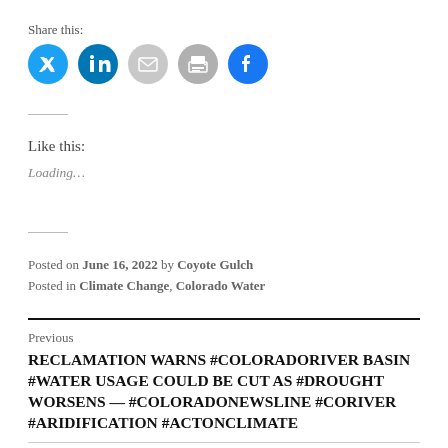Share this:
[Figure (other): Social share buttons: Twitter (blue), LinkedIn (blue), Email (gray), Print (gray), Facebook (blue)]
Like this:
Loading...
Posted on June 16, 2022 by Coyote Gulch
Posted in Climate Change, Colorado Water
Previous
RECLAMATION WARNS #COLORADORIVER BASIN #WATER USAGE COULD BE CUT AS #DROUGHT WORSENS — #COLORADONEWSLINE #CORIVER #ARIDIFICATION #ACTONCLIMATE
Next